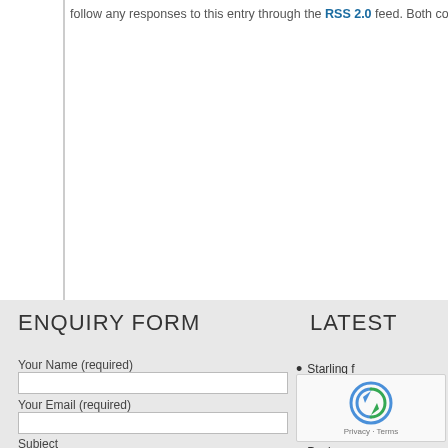follow any responses to this entry through the RSS 2.0 feed. Both comments a…
ENQUIRY FORM
LATEST
Your Name (required)
Your Email (required)
Subject
Starling f…
Paying w…